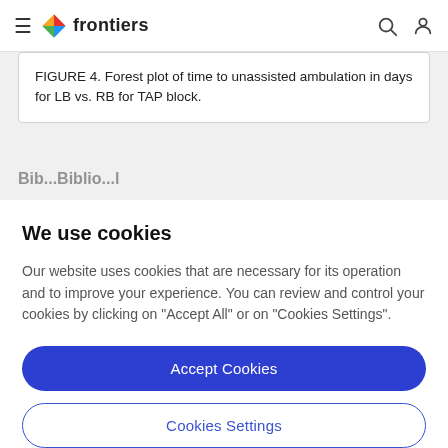frontiers
FIGURE 4. Forest plot of time to unassisted ambulation in days for LB vs. RB for TAP block.
...
We use cookies
Our website uses cookies that are necessary for its operation and to improve your experience. You can review and control your cookies by clicking on "Accept All" or on "Cookies Settings".
Accept Cookies
Cookies Settings